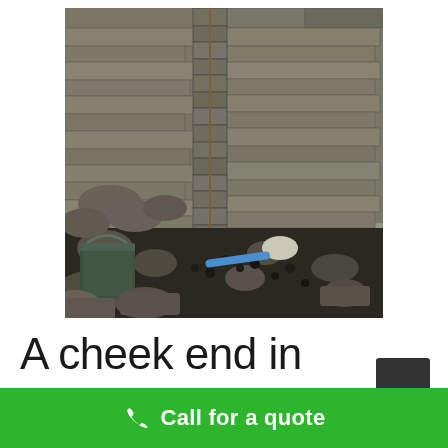[Figure (photo): Outdoor construction/masonry scene showing a stone wall corner being rebuilt. Rough-cut stone blocks stacked at a corner with a vertical metal rod/plumb line. Scattered rocks and dark gravel on the ground, a dark green bucket in the lower left, a blue trowel near the base, and a pale rock. Background shows more stone wall and gravel path with grass and trees.]
A cheek end in
Call for a quote